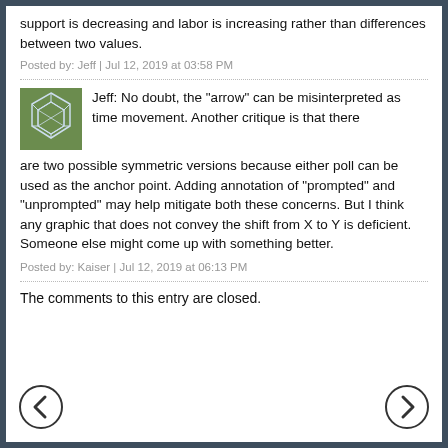support is decreasing and labor is increasing rather than differences between two values.
Posted by: Jeff | Jul 12, 2019 at 03:58 PM
Jeff: No doubt, the "arrow" can be misinterpreted as time movement. Another critique is that there are two possible symmetric versions because either poll can be used as the anchor point. Adding annotation of "prompted" and "unprompted" may help mitigate both these concerns. But I think any graphic that does not convey the shift from X to Y is deficient. Someone else might come up with something better.
Posted by: Kaiser | Jul 12, 2019 at 06:13 PM
The comments to this entry are closed.